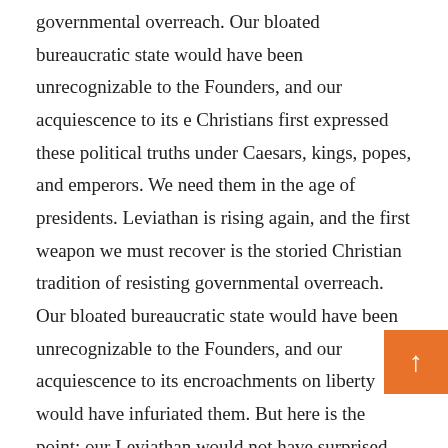governmental overreach. Our bloated bureaucratic state would have been unrecognizable to the Founders, and our acquiescence to its e Christians first expressed these political truths under Caesars, kings, popes, and emperors. We need them in the age of presidents. Leviathan is rising again, and the first weapon we must recover is the storied Christian tradition of resisting governmental overreach. Our bloated bureaucratic state would have been unrecognizable to the Founders, and our acquiescence to its encroachments on liberty would have infuriated them. But here is the point: our Leviathan would not have surprised them. They were well acquainted with the tendency of governments to turn tyrannical: “Eternal vigilance is the price we pay for liberty.” In Slaying Leviathan, historian Glenn S. Sunshine surveys some of the stories and key elements of Christian political thought from Augustine to the Declaration of Independence.